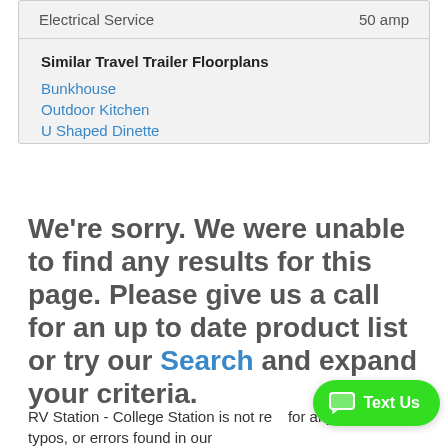| Electrical Service | 50 amp |
Similar Travel Trailer Floorplans
Bunkhouse
Outdoor Kitchen
U Shaped Dinette
We're sorry. We were unable to find any results for this page. Please give us a call for an up to date product list or try our Search and expand your criteria.
RV Station - College Station is not responsible for any misprints, typos, or errors found in our